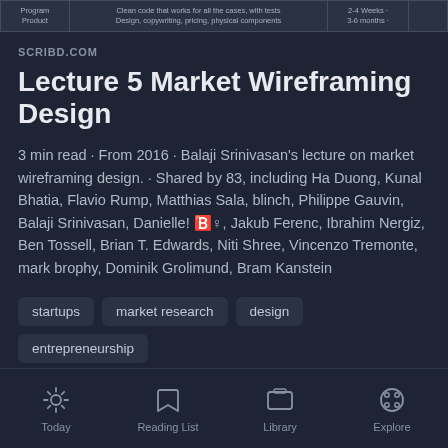[Figure (table-as-image): Partial table showing rows with columns for program/product type, description, and timeframe (2-4 weeks, 3-6 months)]
SCRIBD.COM
Lecture 5 Market Wireframing Design
3 min read · From 2016 · Balaji Srinivasan's lecture on market wireframing design. · Shared by 83, including Ha Duong, Kunal Bhatia, Flavio Rump, Matthias Sala, blinch, Philippe Gauvin, Balaji Srinivasan, Danielle! 🅱️♀, Jakub Ferenc, Ibrahim Nergiz, Ben Tossell, Brian T. Edwards, Niti Shree, Vincenzo Tremonte, mark brophy, Dominik Grolimund, Bram Kanstein
startups
market research
design
entrepreneurship
idea maze
Today   Reading List   Library   Explore